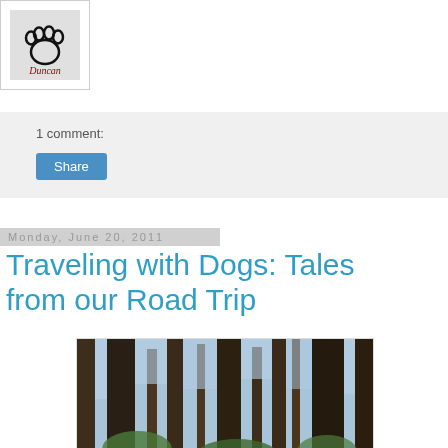[Figure (logo): Paw print logo with 'Duncan' text on grey background, inside white bordered box]
1 comment:
Share
Monday, June 20, 2011
Traveling with Dogs: Tales from our Road Trip
[Figure (photo): Photo of tall trees with light sky visible through branches, forest scene]